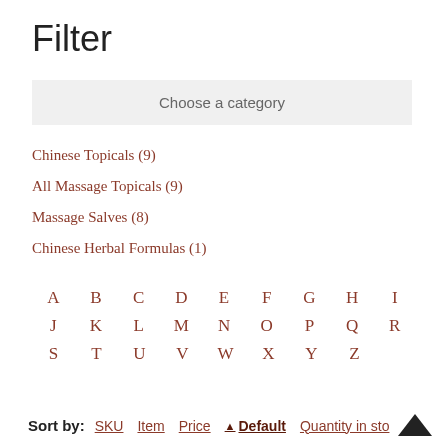Filter
Choose a category
Chinese Topicals (9)
All Massage Topicals (9)
Massage Salves (8)
Chinese Herbal Formulas (1)
A B C D E F G H I J K L M N O P Q R S T U V W X Y Z
Sort by: SKU  Item  Price  ▲ Default  Quantity in sto